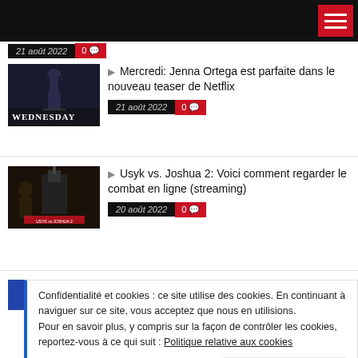Navigation header with hamburger menu
21 août 2022 · 0 comments
Mercredi: Jenna Ortega est parfaite dans le nouveau teaser de Netflix
21 août 2022 · 0 comments
Usyk vs. Joshua 2: Voici comment regarder le combat en ligne (streaming)
20 août 2022 · 0 comments
L'Orpheline: Les Origines du mal le...
Confidentialité et cookies : ce site utilise des cookies. En continuant à naviguer sur ce site, vous acceptez que nous en utilisions. Pour en savoir plus, y compris sur la façon de contrôler les cookies, reportez-vous à ce qui suit : Politique relative aux cookies
Fermer et accepter